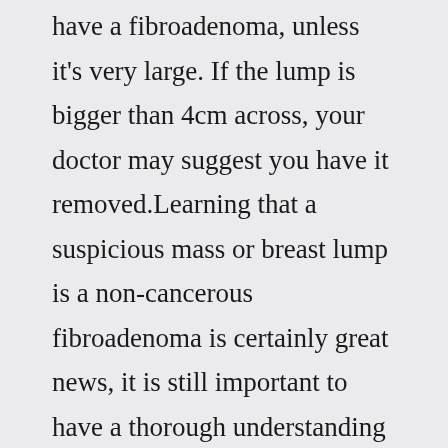have a fibroadenoma, unless it's very large. If the lump is bigger than 4cm across, your doctor may suggest you have it removed.Learning that a suspicious mass or breast lump is a non-cancerous fibroadenoma is certainly great news, it is still important to have a thorough understanding of your treatment options. ... Bedford Breast Center fibroadenoma treatment may be the perfect option.For breast lumps, treatment and diagnosis are